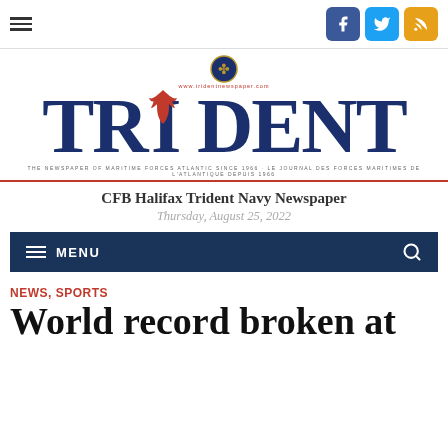CFB Halifax Trident Navy Newspaper — www.tridentnewspaper.com
[Figure (logo): Trident newspaper masthead logo with maple leaf, military crest, and large blue serif TRIDENT text]
CFB Halifax Trident Navy Newspaper
Thursday, August 25, 2022
MENU
NEWS, SPORTS
World record broken at